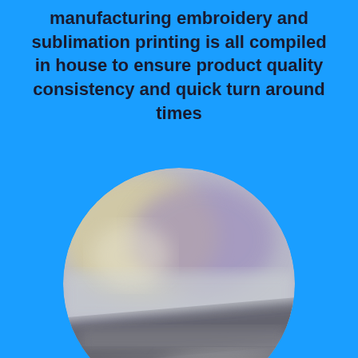manufacturing embroidery and sublimation printing is all compiled in house to ensure product quality consistency and quick turn around times
[Figure (photo): A circular cropped photo showing blurred industrial or printing machinery, with muted grey, white, purple and yellow tones, displayed on a bright blue background.]